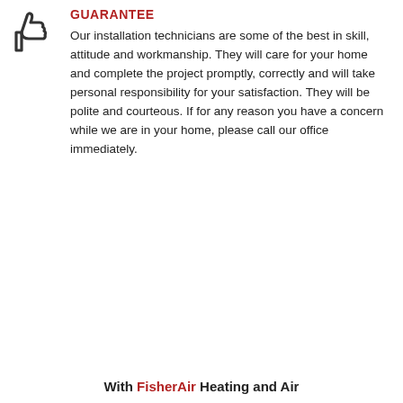[Figure (illustration): A thumbs-up icon outline in dark color, partially visible at top left]
GUARANTEE
Our installation technicians are some of the best in skill, attitude and workmanship. They will care for your home and complete the project promptly, correctly and will take personal responsibility for your satisfaction. They will be polite and courteous. If for any reason you have a concern while we are in your home, please call our office immediately.
With FisherAir Heating and Air